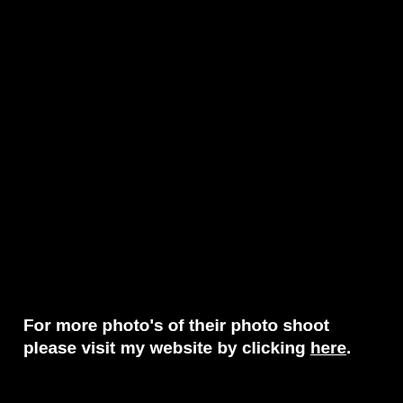For more photo's of their photo shoot please visit my website by clicking here.